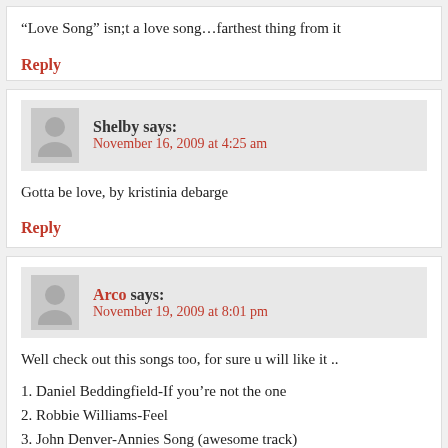“Love Song” isn;t a love song…farthest thing from it
Reply
Shelby says:
November 16, 2009 at 4:25 am
Gotta be love, by kristinia debarge
Reply
Arco says:
November 19, 2009 at 8:01 pm
Well check out this songs too, for sure u will like it ..
1. Daniel Beddingfield-If you’re not the one
2. Robbie Williams-Feel
3. John Denver-Annies Song (awesome track)
4. Lionel Richie ft. Akon-Just Go
5. The Beatles-I want to hold your hand
6. Celeste Prince – Wherever You Are